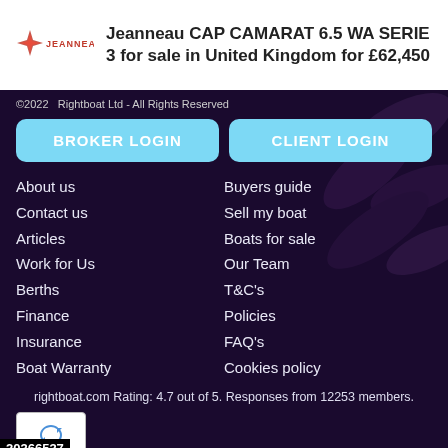[Figure (logo): Jeanneau brand logo with star/compass rose icon and JEANNEAU text in red]
Jeanneau CAP CAMARAT 6.5 WA SERIE 3 for sale in United Kingdom for £62,450
©2022   Rightboat Ltd - All Rights Reserved
BROKER LOGIN
CLIENT LOGIN
About us
Contact us
Articles
Work for Us
Berths
Finance
Insurance
Boat Warranty
Buyers guide
Sell my boat
Boats for sale
Our Team
T&C's
Policies
FAQ's
Cookies policy
rightboat.com Rating: 4.7 out of 5. Responses from 12253 members.
[Figure (logo): reCAPTCHA badge with recycling arrow icon and Privacy - Terms text]
20366537